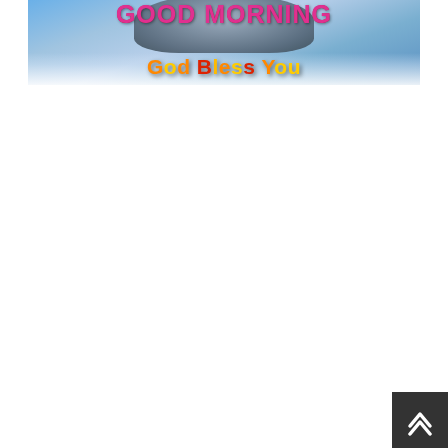[Figure (illustration): Banner image with sky and rocky background showing text 'GOOD MORNING' in pink/red gradient at top and 'God Bless You' in orange/yellow gradient letters below, on a blue cloudy sky background]